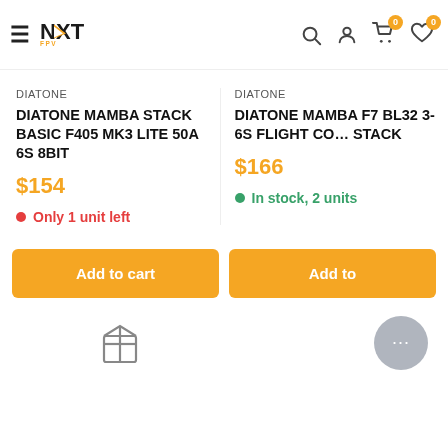NextFPV — Navigation header with hamburger, logo, search, account, cart (0), wishlist (0) icons
DIATONE
DIATONE MAMBA STACK BASIC F405 MK3 LITE 50A 6S 8BIT
$154
Only 1 unit left
DIATONE
DIATONE MAMBA F7 BL32 3-6S FLIGHT CONTROLLER STACK
$166
In stock, 2 units
Add to cart
Add to cart